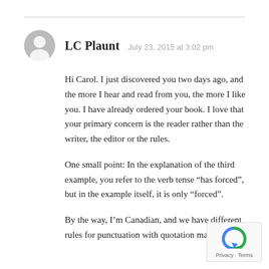LC Plaunt  July 23, 2015 at 3:02 pm
Hi Carol. I just discovered you two days ago, and the more I hear and read from you, the more I like you. I have already ordered your book. I love that your primary concern is the reader rather than the writer, the editor or the rules.
One small point: In the explanation of the third example, you refer to the verb tense “has forced”, but in the example itself, it is only “forced”.
By the way, I’m Canadian, and we have different rules for punctuation with quotation marks.